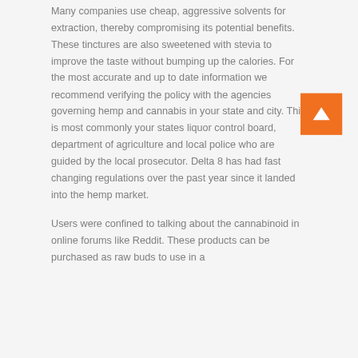Many companies use cheap, aggressive solvents for extraction, thereby compromising its potential benefits. These tinctures are also sweetened with stevia to improve the taste without bumping up the calories. For the most accurate and up to date information we recommend verifying the policy with the agencies governing hemp and cannabis in your state and city. This is most commonly your states liquor control board, department of agriculture and local police who are guided by the local prosecutor. Delta 8 has had fast changing regulations over the past year since it landed into the hemp market.
Users were confined to talking about the cannabinoid in online forums like Reddit. These products can be purchased as raw buds to use in a